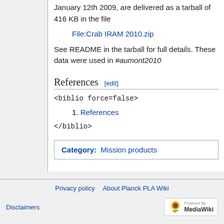January 12th 2009, are delivered as a tarball of 416 KB in the file
File:Crab IRAM 2010.zip
See README in the tarball for full details. These data were used in #aumont2010
References [edit]
<biblio force=false>
1. References
</biblio>
Category:  Mission products
Privacy policy   About Planck PLA Wiki   Disclaimers
[Figure (logo): Powered by MediaWiki logo]